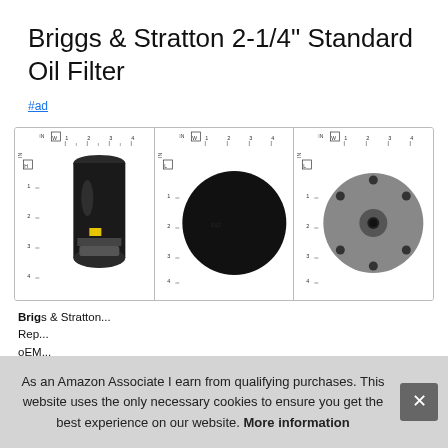Briggs & Stratton 2-1/4" Standard Oil Filter
#ad
[Figure (photo): Three product images of oil filters shown against ruler backgrounds for size reference. Left: side view of a black cylindrical oil filter. Center: bottom/face view of a black circular oil filter. Right: bottom/face view of a gray oil filter with holes.]
Briggs & Stratton...
Replaces...
oEM...
optimum performance.
As an Amazon Associate I earn from qualifying purchases. This website uses the only necessary cookies to ensure you get the best experience on our website. More information